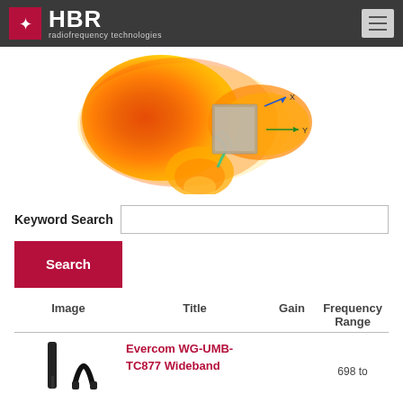HBR radiofrequency technologies
[Figure (other): 3D radiation pattern visualization of an antenna, showing heat-map style coloring (red, orange, yellow, green) indicating signal intensity. A rectangular gray box (antenna body) is visible at center with X and Y axis labels.]
Keyword Search
Search
| Image | Title | Gain | Frequency Range |
| --- | --- | --- | --- |
| [product image] | Evercom WG-UMB-TC877 Wideband |  | 698 to |
Evercom WG-UMB-TC877 Wideband